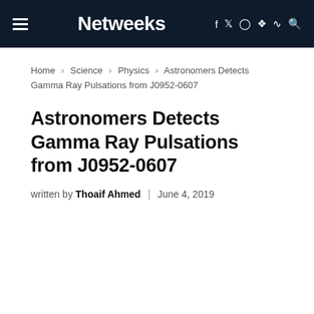Netweeks
Home > Science > Physics > Astronomers Detects Gamma Ray Pulsations from J0952-0607
Astronomers Detects Gamma Ray Pulsations from J0952-0607
written by Thoaif Ahmed | June 4, 2019